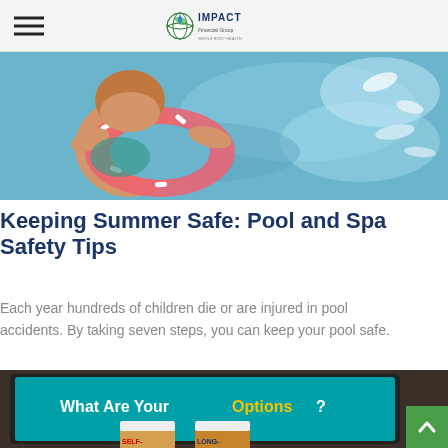IMPACT Financial Group
[Figure (photo): Woman in swimming pool holding a pink inflatable ring, viewed from above with splashing water]
Keeping Summer Safe: Pool and Spa Safety Tips
Each year hundreds of children die or are injured in pool accidents. By taking seven steps, you can keep your pool safe.
[Figure (photo): Tablet displaying 'What Are Your Options?' with prescription medicine bottles labeled SELF and LONG-]